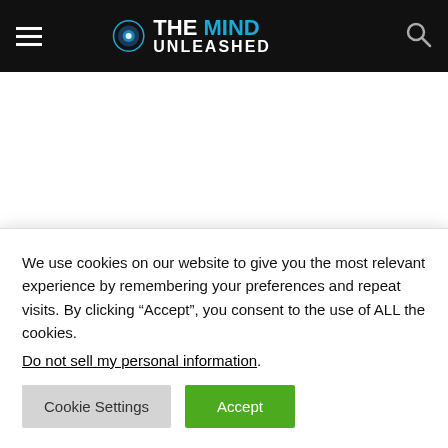THE MIND UNLEASHED
[Figure (other): White advertisement space]
NEWS
Canadian Man Fills Potholes and
We use cookies on our website to give you the most relevant experience by remembering your preferences and repeat visits. By clicking “Accept”, you consent to the use of ALL the cookies.
Do not sell my personal information.
Cookie Settings  Accept